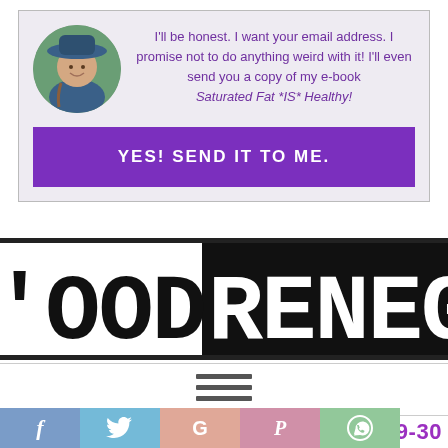[Figure (photo): Circular portrait photo of a woman wearing a wide-brimmed blue hat and a braid, smiling outdoors with green background]
I'll be honest. I want your email address. I promise not to do anything weird with it! I'll even send you a copy of my e-book Saturated Fat *IS* Healthy!
YES! SEND IT TO ME.
[Figure (logo): Food Renegade blog logo — partial text showing 'OOD RENEG' in large bold type, white on black background with white section on left]
[Figure (other): Hamburger menu icon — three horizontal dark gray lines]
MCDONALD'S UNPOPULAR WITH 19-30
[Figure (infographic): Social sharing icons bar — Facebook (f), Twitter bird, Google+ (G), Pinterest (P), WhatsApp icons in pastel colors]